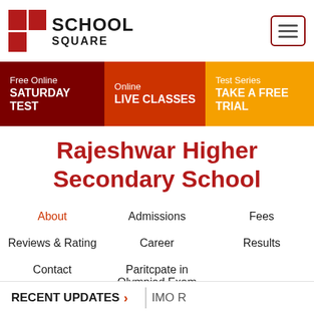[Figure (logo): School Square logo with red grid squares and bold SCHOOL SQUARE text]
Free Online SATURDAY TEST
Online LIVE CLASSES
Test Series TAKE A FREE TRIAL
Rajeshwar Higher Secondary School
About
Admissions
Fees
Reviews & Rating
Career
Results
Contact
Paritcpate in Olympiad Exam
RECENT UPDATES
IMO R